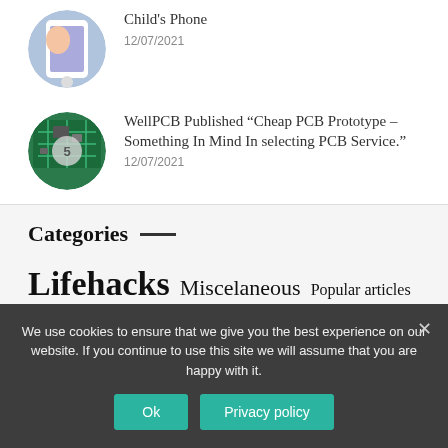[Figure (photo): Circular thumbnail of a child using a phone]
Child's Phone
12/07/2021
[Figure (photo): Circular thumbnail of a PCB circuit board with badge showing number 5]
WellPCB Published “Cheap PCB Prototype – Something In Mind In selecting PCB Service."
12/07/2021
Categories
Lifehacks   Miscelaneous   Popular articles   Tips
We use cookies to ensure that we give you the best experience on our website. If you continue to use this site we will assume that you are happy with it.